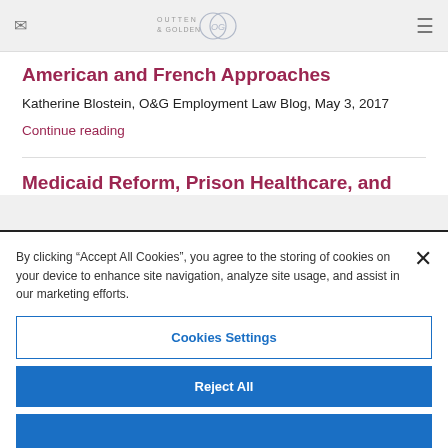OUTTEN & GOLDEN
American and French Approaches
Katherine Blostein, O&G Employment Law Blog, May 3, 2017
Continue reading
Medicaid Reform, Prison Healthcare, and
By clicking “Accept All Cookies”, you agree to the storing of cookies on your device to enhance site navigation, analyze site usage, and assist in our marketing efforts.
Cookies Settings
Reject All